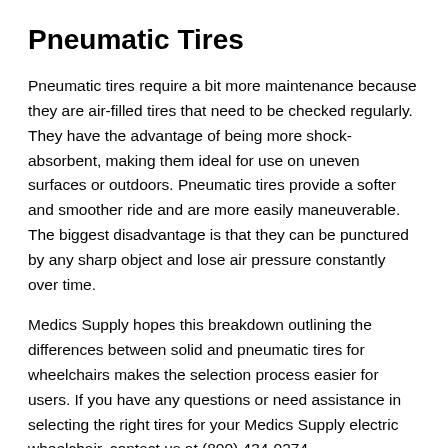Pneumatic Tires
Pneumatic tires require a bit more maintenance because they are air-filled tires that need to be checked regularly. They have the advantage of being more shock-absorbent, making them ideal for use on uneven surfaces or outdoors. Pneumatic tires provide a softer and smoother ride and are more easily maneuverable. The biggest disadvantage is that they can be punctured by any sharp object and lose air pressure constantly over time.
Medics Supply hopes this breakdown outlining the differences between solid and pneumatic tires for wheelchairs makes the selection process easier for users. If you have any questions or need assistance in selecting the right tires for your Medics Supply electric wheelchair, contact us at (800) 434-0274.